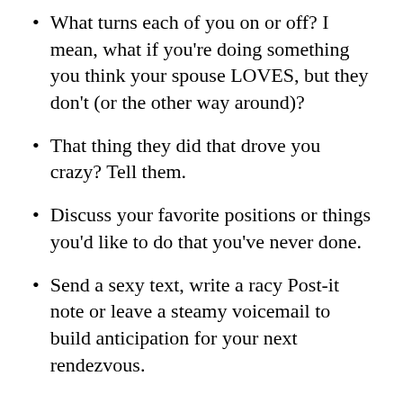What turns each of you on or off? I mean, what if you're doing something you think your spouse LOVES, but they don't (or the other way around)?
That thing they did that drove you crazy? Tell them.
Discuss your favorite positions or things you'd like to do that you've never done.
Send a sexy text, write a racy Post-it note or leave a steamy voicemail to build anticipation for your next rendezvous.